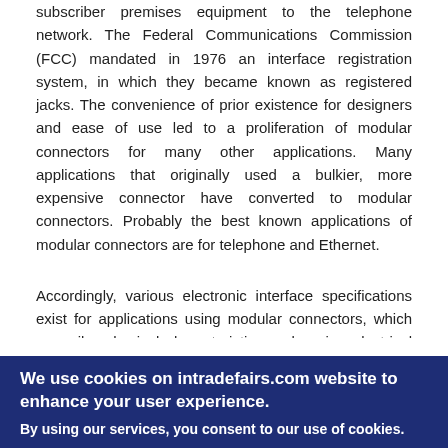subscriber premises equipment to the telephone network. The Federal Communications Commission (FCC) mandated in 1976 an interface registration system, in which they became known as registered jacks. The convenience of prior existence for designers and ease of use led to a proliferation of modular connectors for many other applications. Many applications that originally used a bulkier, more expensive connector have converted to modular connectors. Probably the best known applications of modular connectors are for telephone and Ethernet.
Accordingly, various electronic interface specifications exist for applications using modular connectors, which prescribe physical characteristics and assign electrical signals to their contacts.
Nomenclature
Modular connectors are often referred to as modular phone jack
We use cookies on intradefairs.com website to enhance your user experience.
By using our services, you consent to our use of cookies.